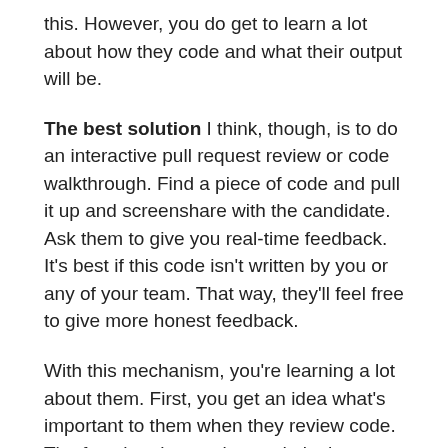this. However, you do get to learn a lot about how they code and what their output will be.
The best solution I think, though, is to do an interactive pull request review or code walkthrough. Find a piece of code and pull it up and screenshare with the candidate. Ask them to give you real-time feedback. It's best if this code isn't written by you or any of your team. That way, they'll feel free to give more honest feedback.
With this mechanism, you're learning a lot about them. First, you get an idea what's important to them when they review code. The fact that they review code in that manner probably means they